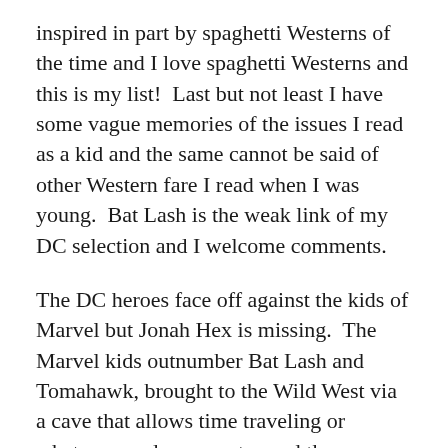inspired in part by spaghetti Westerns of the time and I love spaghetti Westerns and this is my list!  Last but not least I have some vague memories of the issues I read as a kid and the same cannot be said of other Western fare I read when I was young.  Bat Lash is the weak link of my DC selection and I welcome comments.
The DC heroes face off against the kids of Marvel but Jonah Hex is missing.  The Marvel kids outnumber Bat Lash and Tomahawk, brought to the Wild West via a cave that allows time traveling or whatever, and manage to send them running for cover and they are pinned down.  Suddenly a stick of dynamite is tossed from a second story window and lands right in the middle of the Marvel kids and blows them into little pieces.  Jonah Hex is no fool.  He does not fight great gunfighters like the Marvel